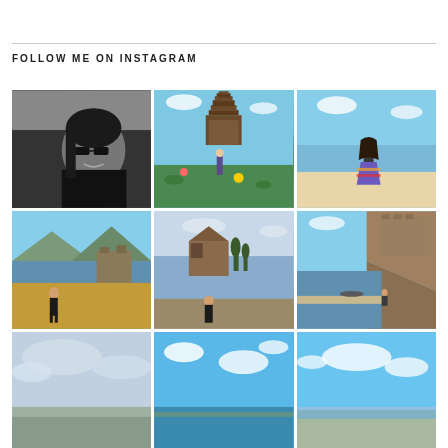FOLLOW ME ON INSTAGRAM
[Figure (photo): Black and white portrait of a woman with sunglasses smiling, water and mountains in background]
[Figure (photo): Woman standing in front of Balinese water temple with lily pads and flowers]
[Figure (photo): Woman in colorful bohemian skirt and sunglasses standing on beach]
[Figure (photo): Woman standing on ancient ruins overlook with mountain lake view]
[Figure (photo): Woman standing near old stone church overlooking large lake]
[Figure (photo): Coastal fortress and rocky cliffs with a pier and calm blue water]
[Figure (photo): Overcast sky with landscape below, partial view]
[Figure (photo): Bright blue sky with clouds]
[Figure (photo): Blue sky with scattered clouds, coastal scene]